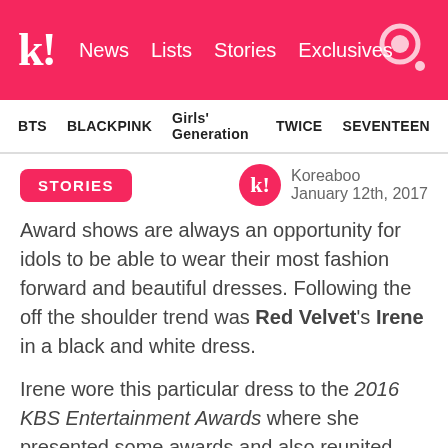k! News Lists Stories Exclusives
BTS BLACKPINK Girls' Generation TWICE SEVENTEEN
STORIES
Koreaboo
January 12th, 2017
Award shows are always an opportunity for idols to be able to wear their most fashion forward and beautiful dresses. Following the off the shoulder trend was Red Velvet's Irene in a black and white dress.
Irene wore this particular dress to the 2016 KBS Entertainment Awards where she presented some awards and also reunited with her Music Bank co-host Park Bogum. Known as the visual member of Red Velvet, this dress fit